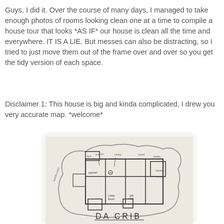Guys, I did it. Over the course of many days, I managed to take enough photos of rooms looking clean one at a time to compile a house tour that looks *AS IF* our house is clean all the time and everywhere. IT IS A LIE. But messes can also be distracting, so I tried to just move them out of the frame over and over so you get the tidy version of each space.
Disclaimer 1: This house is big and kinda complicated, I drew you very accurate map. *welcome*
[Figure (illustration): A hand-drawn floor plan of a house labeled 'DA CRIB' with various rooms labeled including Kitchen, Living Room, and other spaces. The map is drawn on paper in pencil/pen with an organic blob outline around the house footprint.]